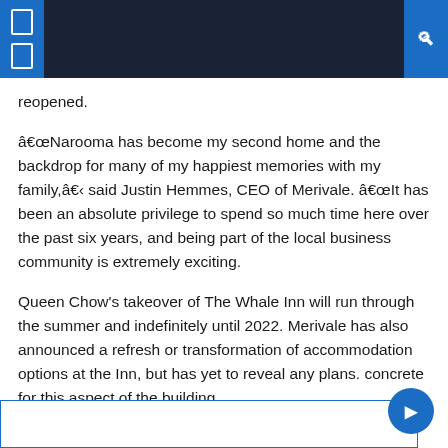reopened.
“Narooma has become my second home and the backdrop for many of my happiest memories with my family,” said Justin Hemmes, CEO of Merivale. “It has been an absolute privilege to spend so much time here over the past six years, and being part of the local business community is extremely exciting.
Queen Chow’s takeover of The Whale Inn will run through the summer and indefinitely until 2022. Merivale has also announced a refresh or transformation of accommodation options at the Inn, but has yet to reveal any plans. concrete for this aspect of the building.